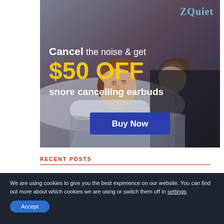[Figure (photo): ZQuiet advertisement showing a sleeping couple with text overlay: 'Cancel the noise & get $50 OFF snore cancelling earbuds' and a 'Buy Now' button. ZQuiet logo in top right corner.]
RECENT POSTS
We are using cookies to give you the best experience on our website. You can find out more about which cookies we are using or switch them off in settings.
Accept